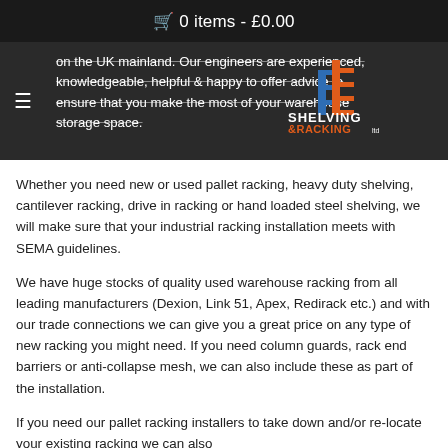🛒 0 items - £0.00
on the UK mainland. Our engineers are experienced, knowledgeable, helpful and happy to offer advice to ensure that you make the most of your warehouse storage space.
[Figure (logo): Shelving & Racking Ltd logo with orange and blue building/shelf graphic and text SHELVING &RACKING ltd]
Whether you need new or used pallet racking, heavy duty shelving, cantilever racking, drive in racking or hand loaded steel shelving, we will make sure that your industrial racking installation meets with SEMA guidelines.
We have huge stocks of quality used warehouse racking from all leading manufacturers (Dexion, Link 51, Apex, Redirack etc.) and with our trade connections we can give you a great price on any type of new racking you might need. If you need column guards, rack end barriers or anti-collapse mesh, we can also include these as part of the installation.
If you need our pallet racking installers to take down and/or re-locate your existing racking we can also arrange this. Our installation team can also work at their